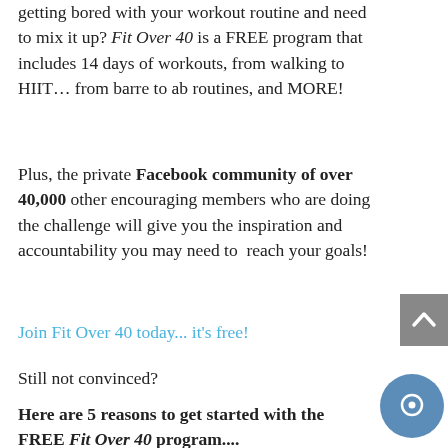...getting bored with your workout routine and need to mix it up? Fit Over 40 is a FREE program that includes 14 days of workouts, from walking to HIIT… from barre to ab routines, and MORE!
Plus, the private Facebook community of over 40,000 other encouraging members who are doing the challenge will give you the inspiration and accountability you may need to reach your goals!
Join Fit Over 40 today... it's free!
Still not convinced?
Here are 5 reasons to get started with the FREE Fit Over 40 program....